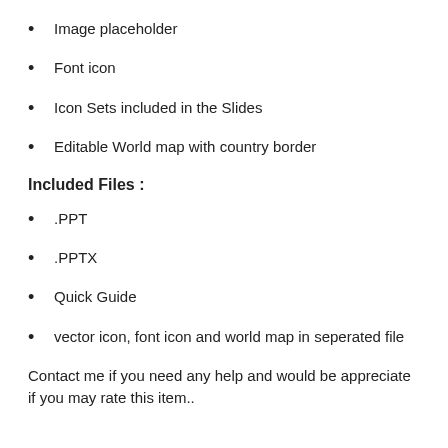Image placeholder
Font icon
Icon Sets included in the Slides
Editable World map with country border
Included Files :
.PPT
.PPTX
Quick Guide
vector icon, font icon and world map in seperated file
Contact me if you need any help and would be appreciate if you may rate this item..